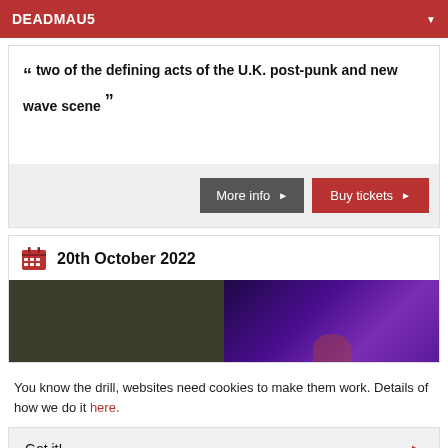DEADMAU5
“two of the defining acts of the U.K. post-punk and new wave scene”
More info ►
Buy tickets ►
20th October 2022
[Figure (photo): Event photo split into two halves: left dark olive/brown background, right purple/violet stage lighting with partial silhouette]
You know the drill, websites need cookies to make them work. Details of how we do it here.
Got it!